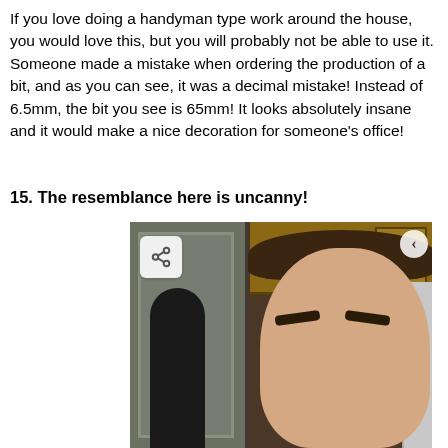If you love doing a handyman type work around the house, you would love this, but you will probably not be able to use it. Someone made a mistake when ordering the production of a bit, and as you can see, it was a decimal mistake! Instead of 6.5mm, the bit you see is 65mm! It looks absolutely insane and it would make a nice decoration for someone's office!
15. The resemblance here is uncanny!
[Figure (photo): A young man with dark hair standing in a kitchen, with wood cabinets above and a mirror/door to the left showing a reflection. There is a share button overlay in the top left of the image and a C icon in the top right.]